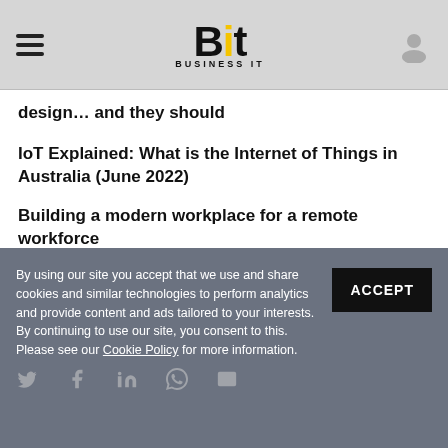Bit — Business IT
design… and they should
IoT Explained: What is the Internet of Things in Australia (June 2022)
Building a modern workplace for a remote workforce
Five minimum features needed in your choice of a business laptop
By using our site you accept that we use and share cookies and similar technologies to perform analytics and provide content and ads tailored to your interests. By continuing to use our site, you consent to this. Please see our Cookie Policy for more information.